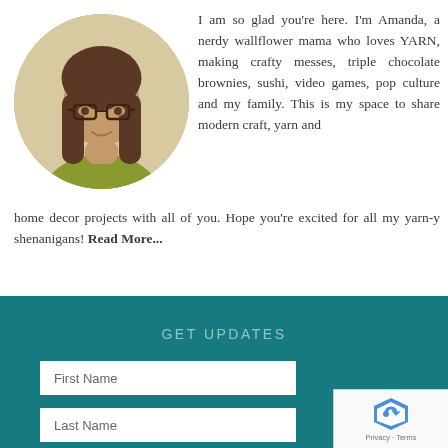[Figure (photo): Circular portrait photo of a woman with long brown hair and glasses, wearing a yellow-green top, set against a light beige/yellow background.]
I am so glad you're here. I'm Amanda, a nerdy wallflower mama who loves YARN, making crafty messes, triple chocolate brownies, sushi, video games, pop culture and my family. This is my space to share modern craft, yarn and home decor projects with all of you. Hope you're excited for all my yarn-y shenanigans! Read More...
GET UPDATES
First Name
Last Name